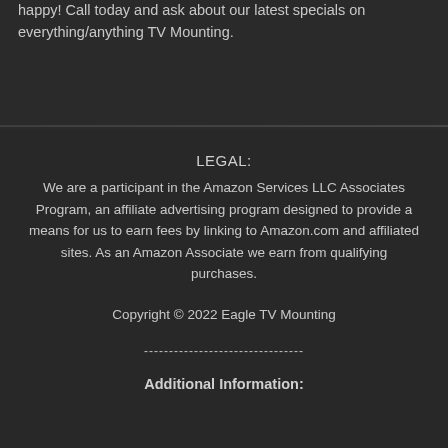happy! Call today and ask about our latest specials on everything/anything TV Mounting.
LEGAL:
We are a participant in the Amazon Services LLC Associates Program, an affiliate advertising program designed to provide a means for us to earn fees by linking to Amazon.com and affiliated sites. As an Amazon Associate we earn from qualifying purchases.
Copyright © 2022 Eagle TV Mounting
--------------------------------
Additional Information: